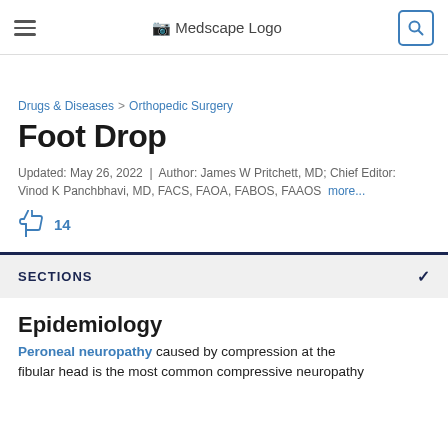Medscape Logo
Drugs & Diseases > Orthopedic Surgery
Foot Drop
Updated: May 26, 2022  |  Author: James W Pritchett, MD; Chief Editor: Vinod K Panchbhavi, MD, FACS, FAOA, FABOS, FAAOS  more...
14
SECTIONS
Epidemiology
Peroneal neuropathy caused by compression at the fibular head is the most common compressive neuropathy